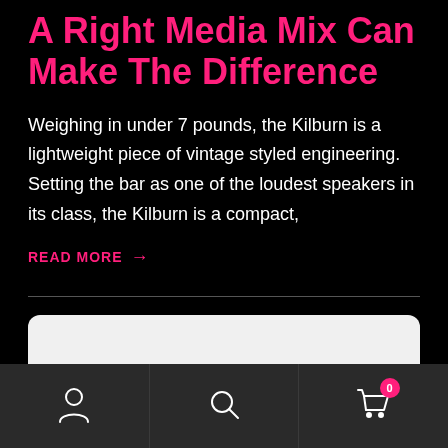A Right Media Mix Can Make The Difference
Weighing in under 7 pounds, the Kilburn is a lightweight piece of vintage styled engineering. Setting the bar as one of the loudest speakers in its class, the Kilburn is a compact,
READ MORE →
[Figure (other): White rounded rectangle card partially visible at bottom of content area]
Bottom navigation bar with account icon, search icon, and cart icon with badge showing 0